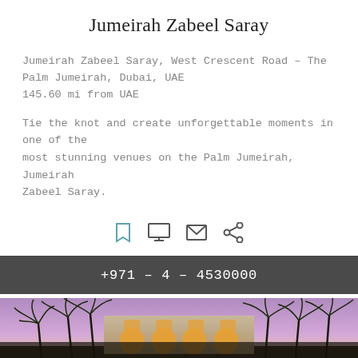Jumeirah Zabeel Saray
Jumeirah Zabeel Saray, West Crescent Road – The Palm Jumeirah, Dubai, UAE
145.60 mi from UAE
Tie the knot and create unforgettable moments in one of the most stunning venues on the Palm Jumeirah, Jumeirah Zabeel Saray.
[Figure (infographic): Row of icons: bookmark, monitor/screen, envelope, share]
+971 – 4 – 4530000
[Figure (photo): Exterior photo of Jumeirah Zabeel Saray hotel at dusk, showing the building facade lit with warm orange light behind tall palm trees against a purple-pink sky.]